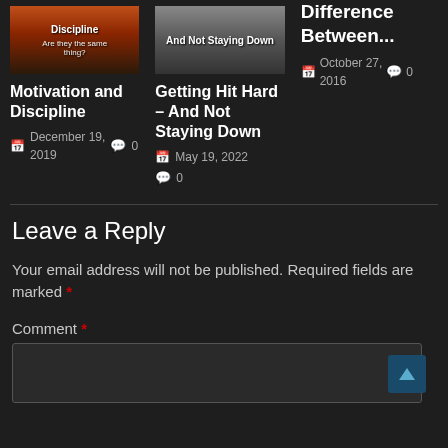[Figure (screenshot): Blog card thumbnail 1 - sunset/orange image with text 'Discipline' and 'Are they the same thing?']
Motivation and Discipline
December 19, 2019  0
[Figure (screenshot): Blog card thumbnail 2 - grayscale image with text 'And Not Staying Down']
Getting Hit Hard – And Not Staying Down
May 19, 2022  0
Difference Between...
October 27, 2016  0
Leave a Reply
Your email address will not be published. Required fields are marked *
Comment *